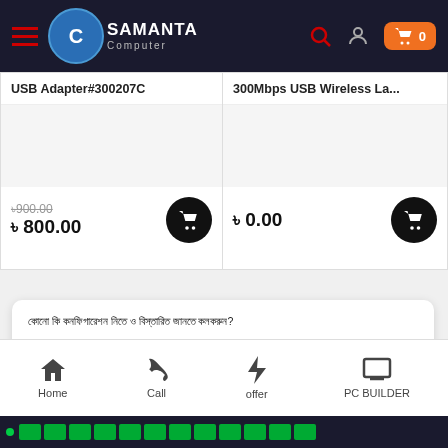Samanta Computer - Header navigation
USB Adapter#300207C
300Mbps USB Wireless La...
৳900.00 (strikethrough) ৳800.00
৳0.00
কোনো কি কনফিগারেশন নিতে ও বিস্তারিত জানতে কলকরুন?
☎01723-570189(10AM – 8PM)
আমাদের সাথে ও সোশ্যাল মিডিয়ায় :
Home | Call | offer | PC BUILDER